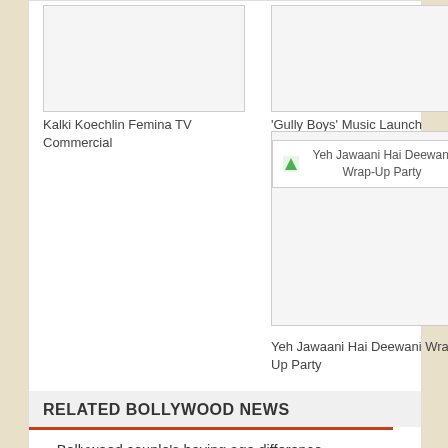[Figure (photo): Blank image placeholder for Kalki Koechlin Femina TV Commercial]
Kalki Koechlin Femina TV Commercial
[Figure (photo): Blank image placeholder for 'Gully Boys' Music Launch]
'Gully Boys' Music Launch
[Figure (photo): Image placeholder for Yeh Jawaani Hai Deewani Wrap-Up Party]
Yeh Jawaani Hai Deewani Wrap-Up Party
RELATED BOLLYWOOD NEWS
Bollywood couple's having age difference
Pregger Kalki Koechlin flaunts baby bump pic with feet up
Kalki shares adorable pic of daughter Sappho with Guy Hershberg
Kalki Koechlin shares first picture of daughter Sappho
On Valentine's Day, Kalki Koechlin shares pic of newborn with boyfriend